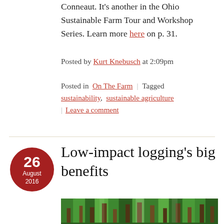Conneaut. It’s another in the Ohio Sustainable Farm Tour and Workshop Series. Learn more here on p. 31.
Posted by Kurt Knebusch at 2:09pm
Posted in On The Farm | Tagged sustainability, sustainable agriculture | Leave a comment
Low-impact logging’s big benefits
[Figure (photo): Forest photo showing tall trees with green foliage viewed from below]